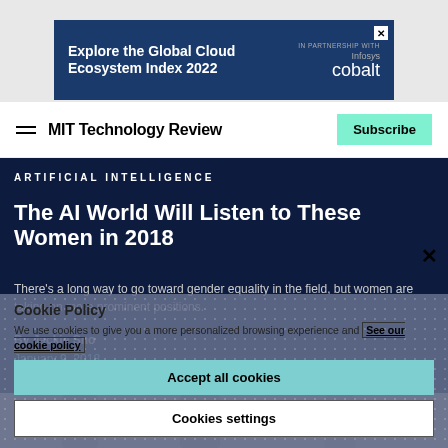[Figure (other): Advertisement banner for Infosys Cobalt - Explore the Global Cloud Ecosystem Index 2022]
MIT Technology Review
ARTIFICIAL INTELLIGENCE
The AI World Will Listen to These Women in 2018
There's a long way to go toward gender equality in the field, but women are taking on more prominent positions.
By Jackie Sno
January 9, 2018
Cookie Policy
We use cookies to give you a more personalized browsing experience and See our cookie policy
Accept all cookies
Cookies settings
[Figure (photo): Photo strip of women at the bottom of the page]